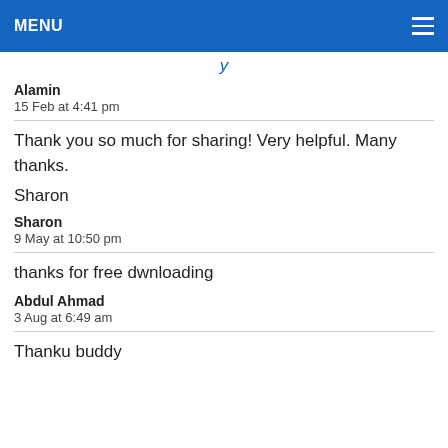MENU
y
Alamin
15 Feb at 4:41 pm
Thank you so much for sharing! Very helpful. Many thanks.

Sharon
Sharon
9 May at 10:50 pm
thanks for free dwnloading
Abdul Ahmad
3 Aug at 6:49 am
Thanku buddy